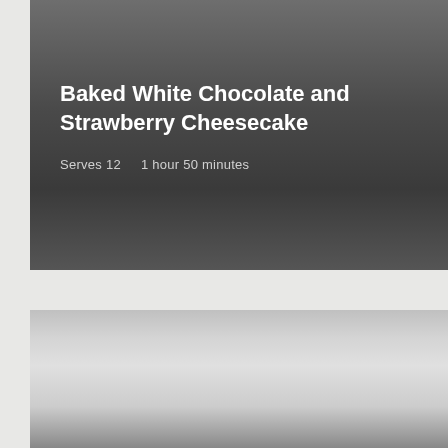[Figure (photo): Dark gradient background header band for a recipe page, with gray tones fading from mid-gray to dark gray]
Baked White Chocolate and Strawberry Cheesecake
Serves 12    1 hour 50 minutes
[Figure (photo): Lower portion of the page showing a light gray gradient background, possibly a cheesecake photo partially visible]